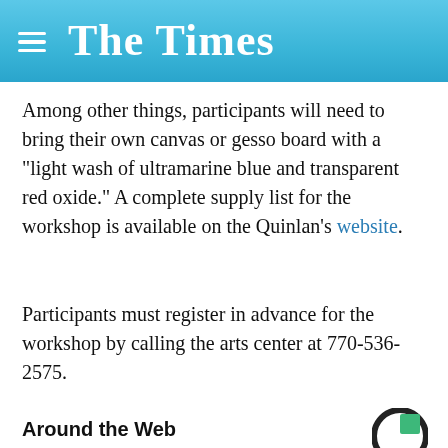The Times
Among other things, participants will need to bring their own canvas or gesso board with a "light wash of ultramarine blue and transparent red oxide." A complete supply list for the workshop is available on the Quinlan's website.
Participants must register in advance for the workshop by calling the arts center at 770-536-2575.
Around the Web
[Figure (photo): Cropped photo of a woman with dark hair, partial face visible from eyebrows up, advertisement context]
[Figure (photo): Advertisement banner: Top Junior Gold Mining Stock - Get access to the next top mining Micro Cap here! www.rivres.com]